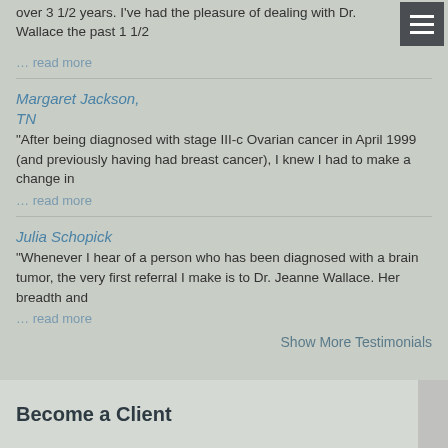over 3 1/2 years. I've had the pleasure of dealing with Dr. Wallace the past 1 1/2
… read more
Margaret Jackson, TN
"After being diagnosed with stage III-c Ovarian cancer in April 1999 (and previously having had breast cancer), I knew I had to make a change in
… read more
Julia Schopick
"Whenever I hear of a person who has been diagnosed with a brain tumor, the very first referral I make is to Dr. Jeanne Wallace. Her breadth and
… read more
Show More Testimonials
Become a Client